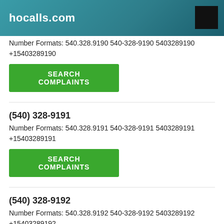hocalls.com
Number Formats: 540.328.9190 540-328-9190 5403289190 +15403289190
SEARCH COMPLAINTS
(540) 328-9191
Number Formats: 540.328.9191 540-328-9191 5403289191 +15403289191
SEARCH COMPLAINTS
(540) 328-9192
Number Formats: 540.328.9192 540-328-9192 5403289192 +15403289192
SEARCH COMPLAINTS
(540) 328-9193